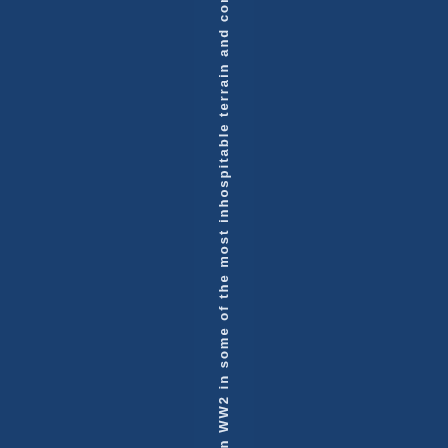in WW2 in some of the most inhospitable terrain and con